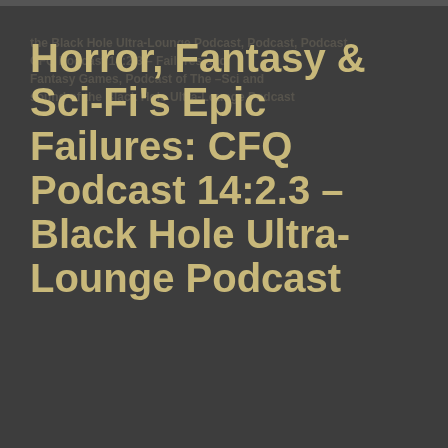Horror, Fantasy & Sci-Fi's Epic Failures: CFQ Podcast 14:2.3 – Black Hole Ultra-Lounge Podcast
Posted on April 17, 2011 by Steve Biodrowski